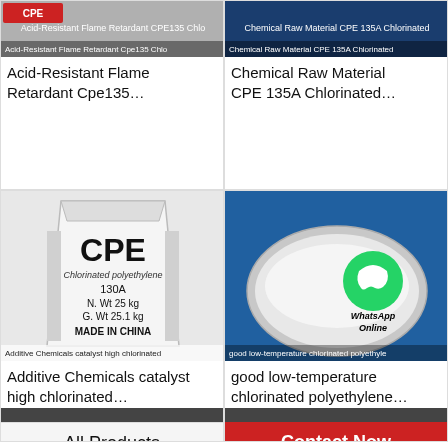[Figure (photo): Product thumbnail for Acid-Resistant Flame Retardant Cpe135 Chlo with CPE logo overlay and product label]
Acid-Resistant Flame Retardant Cpe135…
[Figure (photo): Product thumbnail for Chemical Raw Material CPE 135A Chlorinated with blue background]
Chemical Raw Material CPE 135A Chlorinated…
[Figure (photo): White CPE 130A bag labeled: Chlorinated polyethylene, 130A, N.Wt 25 kg, G.Wt 25.1 kg, MADE IN CHINA. Caption: Additive Chemicals catalyst high chlorinated]
Additive Chemicals catalyst high chlorinated…
[Figure (photo): Bowl of white powder with WhatsApp Online icon overlay. Caption: good low-temperature chlorinated polyethyle]
good low-temperature chlorinated polyethylene…
[Figure (photo): Partial bottom image strip on left side]
All Products
Contact Now